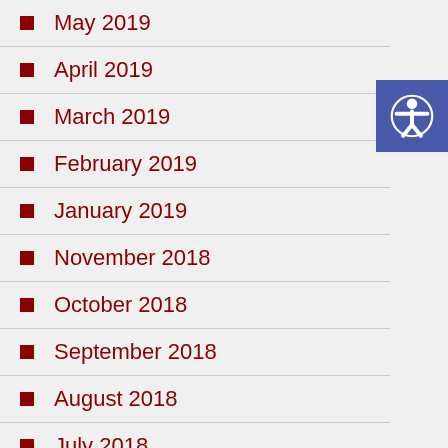May 2019
April 2019
March 2019
February 2019
January 2019
November 2018
October 2018
September 2018
August 2018
July 2018
June 2018